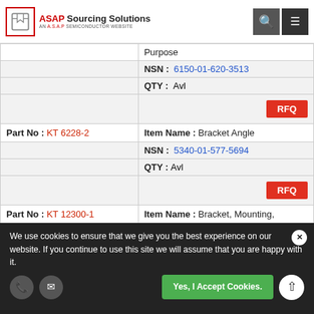ASAP Sourcing Solutions - AN A.S.A.P SEMICONDUCTOR WEBSITE
| Part No | Item Name / NSN / QTY |
| --- | --- |
|  | Purpose |
|  | NSN: 6150-01-620-3513 |
|  | QTY: Avl |
|  | RFQ |
| KT 6228-2 | Item Name: Bracket Angle |
|  | NSN: 5340-01-577-5694 |
|  | QTY: Avl |
|  | RFQ |
| KT 12300-1 | Item Name: Bracket, Mounting, |
|  | NSN: 5340-01-619-4467 |
|  | QTY: Avl |
|  | RFQ |
| YC1896-1 | Item Name: Chassis,Electrical-Electronic |
We use cookies to ensure that we give you the best experience on our website. If you continue to use this site we will assume that you are happy with it.